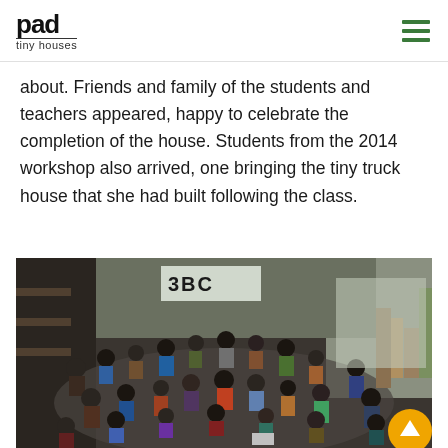pad tiny houses
about. Friends and family of the students and teachers appeared, happy to celebrate the completion of the house. Students from the 2014 workshop also arrived, one bringing the tiny truck house that she had built following the class.
[Figure (photo): Large group of people gathered in a workshop/garage space, sitting in a circular arrangement on the floor and chairs, with tools and equipment visible around the perimeter. A banner reading '3BC' is visible in the background.]